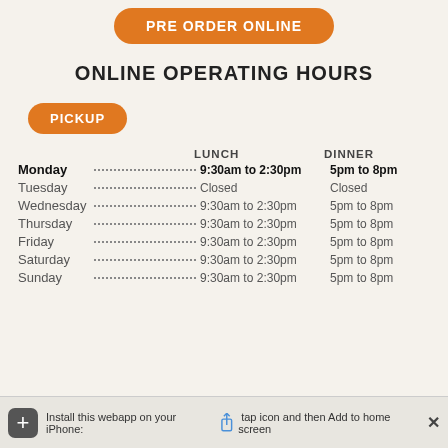[Figure (other): Orange rounded button labeled PRE ORDER ONLINE]
ONLINE OPERATING HOURS
[Figure (other): Orange rounded button labeled PICKUP]
| Day | LUNCH | DINNER |
| --- | --- | --- |
| Monday | 9:30am to 2:30pm | 5pm to 8pm |
| Tuesday | Closed | Closed |
| Wednesday | 9:30am to 2:30pm | 5pm to 8pm |
| Thursday | 9:30am to 2:30pm | 5pm to 8pm |
| Friday | 9:30am to 2:30pm | 5pm to 8pm |
| Saturday | 9:30am to 2:30pm | 5pm to 8pm |
| Sunday | 9:30am to 2:30pm | 5pm to 8pm |
Install this webapp on your iPhone: tap icon and then Add to home screen